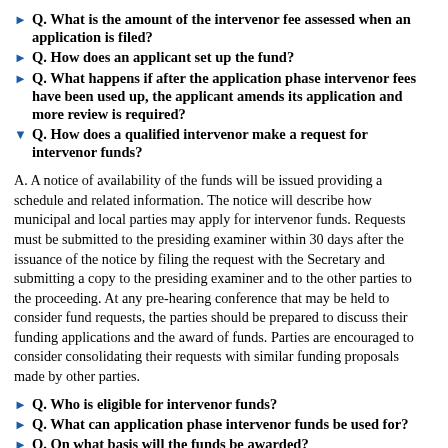Q. What is the amount of the intervenor fee assessed when an application is filed?
Q. How does an applicant set up the fund?
Q. What happens if after the application phase intervenor fees have been used up, the applicant amends its application and more review is required?
Q. How does a qualified intervenor make a request for intervenor funds?
A. A notice of availability of the funds will be issued providing a schedule and related information. The notice will describe how municipal and local parties may apply for intervenor funds. Requests must be submitted to the presiding examiner within 30 days after the issuance of the notice by filing the request with the Secretary and submitting a copy to the presiding examiner and to the other parties to the proceeding. At any pre-hearing conference that may be held to consider fund requests, the parties should be prepared to discuss their funding applications and the award of funds. Parties are encouraged to consider consolidating their requests with similar funding proposals made by other parties.
Q. Who is eligible for intervenor funds?
Q. What can application phase intervenor funds be used for?
Q. On what basis will the funds be awarded?